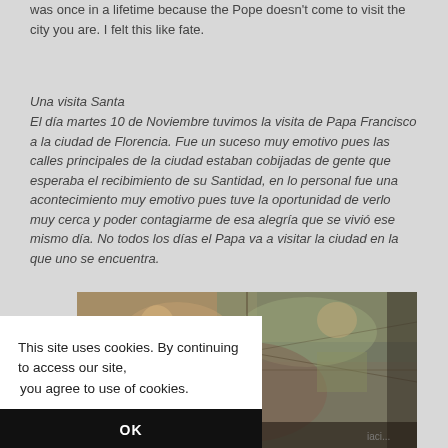was once in a lifetime because the Pope doesn't come to visit the city you are. I felt this like fate.
Una visita Santa
El día martes 10 de Noviembre tuvimos la visita de Papa Francisco a la ciudad de Florencia. Fue un suceso muy emotivo pues las calles principales de la ciudad estaban cobijadas de gente que esperaba el recibimiento de su Santidad, en lo personal fue una acontecimiento muy emotivo pues tuve la oportunidad de verlo muy cerca y poder contagiarme de esa alegría que se vivió ese mismo día. No todos los días el Papa va a visitar la ciudad en la que uno se encuentra.
[Figure (photo): Photograph of ornate painted ceiling frescoes with religious imagery, viewed from below at an angle showing detailed Renaissance-style artwork.]
This site uses cookies. By continuing to access our site,
you agree to use of cookies.
OK